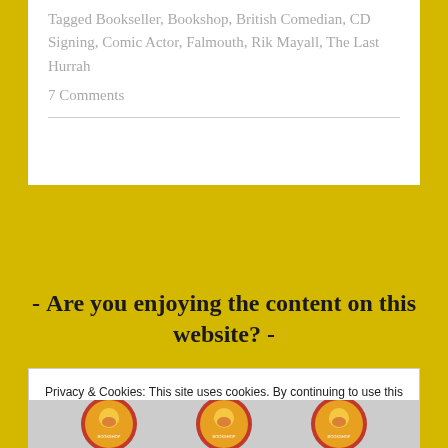Tagged Bookseller, Bookshop, British Comedian, CD Signing, Comic Actor, Falmouth, Rik Mayall, The Last Hurrah
7 Comments
- Are you enjoying the content on this website? -
Privacy & Cookies: This site uses cookies. By continuing to use this website, you agree to their use.
To find out more, including how to control cookies, see here: Cookie Policy
[Figure (photo): Three circular badge/button images at the bottom of the page showing faces, partially cropped]